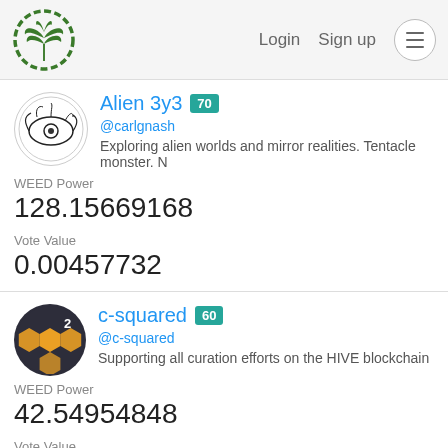Login  Sign up  ☰
Alien 3y3 70 @carlgnash Exploring alien worlds and mirror realities. Tentacle monster. N
WEED Power
128.15669168
Vote Value
0.00457732
c-squared 60 @c-squared Supporting all curation efforts on the HIVE blockchain
WEED Power
42.54954848
Vote Value
0.00109172